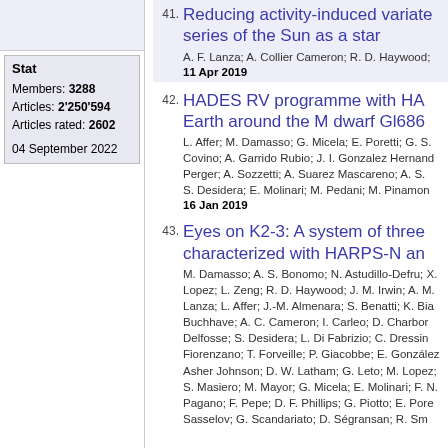Stat
Members: 3288
Articles: 2'250'594
Articles rated: 2602

04 September 2022
41. Reducing activity-induced variations in time series of the Sun as a star
A. F. Lanza; A. Collier Cameron; R. D. Haywood;
11 Apr 2019
42. HADES RV programme with HA... Earth around the M dwarf Gl686
L. Affer; M. Damasso; G. Micela; E. Poretti; G. S. Covino; A. Garrido Rubio; J. I. Gonzalez Hernand... Perger; A. Sozzetti; A. Suarez Mascareno; A. S. S. Desidera; E. Molinari; M. Pedani; M. Pinamon...
16 Jan 2019
43. Eyes on K2-3: A system of three... characterized with HARPS-N an...
M. Damasso; A. S. Bonomo; N. Astudillo-Defru; X. Lopez; L. Zeng; R. D. Haywood; J. M. Irwin; A. M. Lanza; L. Affer; J.-M. Almenara; S. Benatti; K. Bia... Buchhave; A. C. Cameron; I. Carleo; D. Charbor... Delfosse; S. Desidera; L. Di Fabrizio; C. Dressin... Fiorenzano; T. Forveille; P. Giacobbe; E. Gonzale... Asher Johnson; D. W. Latham; G. Leto; M. Lope... S. Masiero; M. Mayor; G. Micela; E. Molinari; F. N... Pagano; F. Pepe; D. F. Phillips; G. Piotto; E. Pore... Sasselov; G. Scandariato; D. Ségransan; R. Sm...